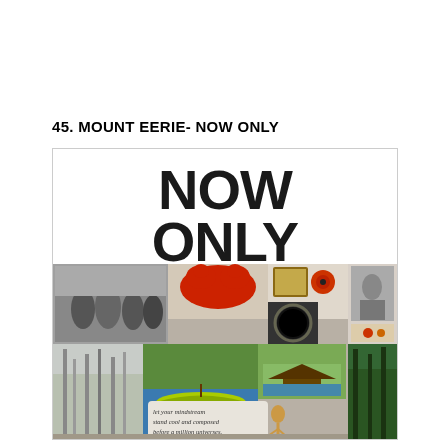45. MOUNT EERIE- NOW ONLY
[Figure (photo): Album cover for 'Now Only' by Mount Eerie. Upper half shows bold black text 'NOW ONLY' on white background. Lower half is a collage of photographs including people outdoors, a red abstract shape, nature scenes, a canoe, forest, Japanese temple, and various other images. A speech bubble reads 'let your mindstream stand cool and composed before a million universes.']